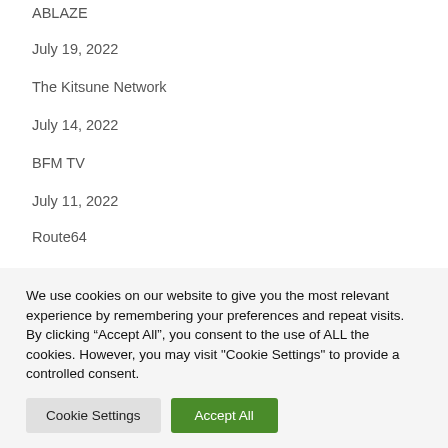ABLAZE
July 19, 2022
The Kitsune Network
July 14, 2022
BFM TV
July 11, 2022
Route64
June 8, 2022
Monaco Tribune
We use cookies on our website to give you the most relevant experience by remembering your preferences and repeat visits. By clicking “Accept All”, you consent to the use of ALL the cookies. However, you may visit "Cookie Settings" to provide a controlled consent.